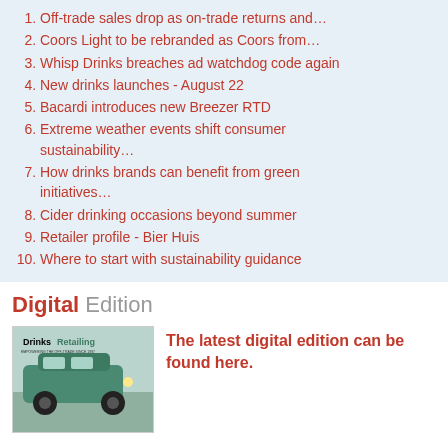Off-trade sales drop as on-trade returns and…
Coors Light to be rebranded as Coors from…
Whisp Drinks breaches ad watchdog code again
New drinks launches - August 22
Bacardi introduces new Breezer RTD
Extreme weather events shift consumer sustainability…
How drinks brands can benefit from green initiatives…
Cider drinking occasions beyond summer
Retailer profile - Bier Huis
Where to start with sustainability guidance
Digital Edition
[Figure (photo): DrinksRetailing magazine cover showing a vintage green vehicle]
The latest digital edition can be found here.